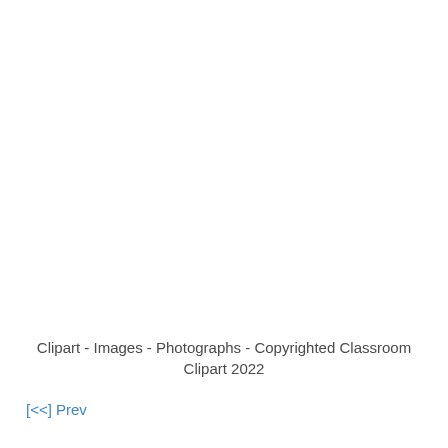Clipart - Images - Photographs - Copyrighted Classroom Clipart 2022
[<<] Prev